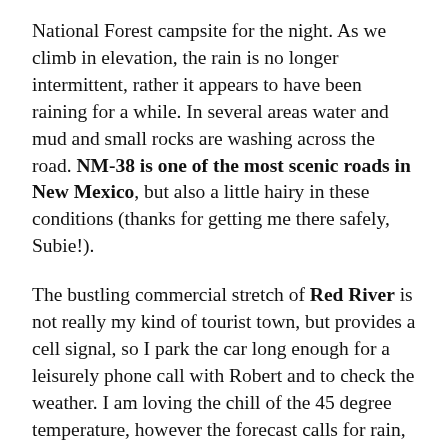National Forest campsite for the night. As we climb in elevation, the rain is no longer intermittent, rather it appears to have been raining for a while. In several areas water and mud and small rocks are washing across the road. NM-38 is one of the most scenic roads in New Mexico, but also a little hairy in these conditions (thanks for getting me there safely, Subie!).
The bustling commercial stretch of Red River is not really my kind of tourist town, but provides a cell signal, so I park the car long enough for a leisurely phone call with Robert and to check the weather. I am loving the chill of the 45 degree temperature, however the forecast calls for rain, rain, rain all night.
A few miles east of Red River, I find an idyllic private NFS campsite complete with rushing creek, however I am not eager to be stuck sitting and sleeping in the car for the next 15 hours with a young dog who has been